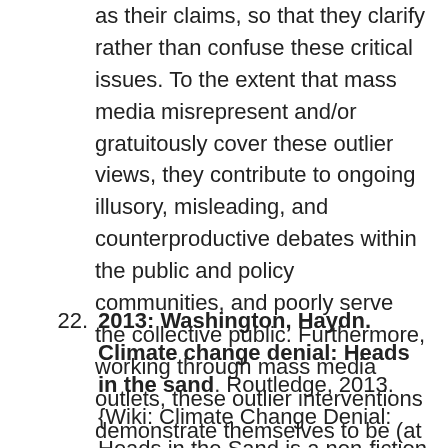as their claims, so that they clarify rather than confuse these critical issues. To the extent that mass media misrepresent and/or gratuitously cover these outlier views, they contribute to ongoing illusory, misleading, and counterproductive debates within the public and policy communities, and poorly serve the collective public. Furthermore, working through mass media outlets, these outlier interventions demonstrate themselves to be (at times deliberately) detrimental to efforts seeking to enlarge rather than constrict the spectrum of possibility for varied forms of climate action}
22. 2013: Washington, Haydn. Climate change denial: Heads in the sand. Routledge, 2013. {Wiki: Climate Change Denial: Heads in the Sand is a non-fiction book about climate change denial, coauthored by Haydn Washington and John Cook, with a foreword by